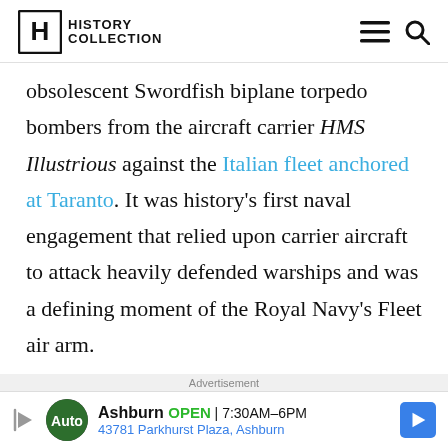History Collection
obsolescent Swordfish biplane torpedo bombers from the aircraft carrier HMS Illustrious against the Italian fleet anchored at Taranto. It was history's first naval engagement that relied upon carrier aircraft to attack heavily defended warships and was a defining moment of the Royal Navy's Fleet air arm.

Plans for attacking the Italian fleet in Taranto.